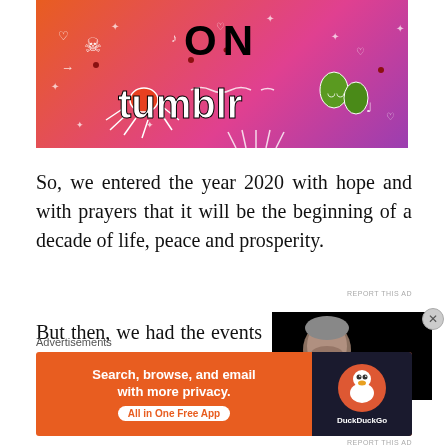[Figure (illustration): Tumblr advertisement banner with colorful gradient background (orange to purple), text 'ON tumblr' with decorative doodle icons including skull, spider, hearts, musical notes, leaves]
So, we entered the year 2020 with hope and with prayers that it will be the beginning of a decade of life, peace and prosperity.
But then, we had the events of last night, when
[Figure (photo): Dark photo of a man with grey hair against black background]
Advertisements
[Figure (illustration): DuckDuckGo advertisement: 'Search, browse, and email with more privacy. All in One Free App' with DuckDuckGo logo on dark right panel]